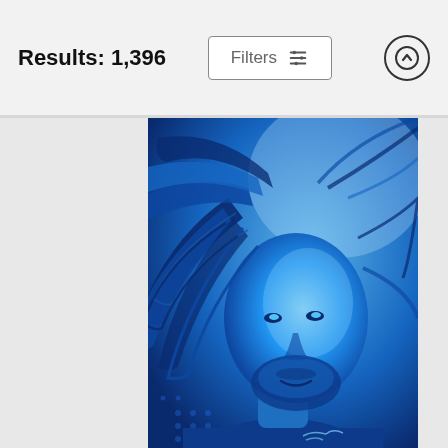Results: 1,396
[Figure (screenshot): Filters button with sliders icon and an up-arrow circle button in a search results header bar]
[Figure (illustration): Blue-toned digital illustration/artwork of a man with flowing long hair and beard, rendered in shades of blue, with dramatic wind-blown hair effect]